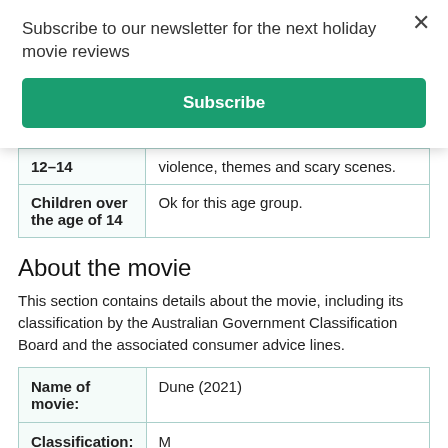Subscribe to our newsletter for the next holiday movie reviews
Subscribe
| 12–14 | violence, themes and scary scenes. |
| Children over the age of 14 | Ok for this age group. |
About the movie
This section contains details about the movie, including its classification by the Australian Government Classification Board and the associated consumer advice lines.
| Name of movie: | Dune (2021) |
| Classification: | M |
| Consumer advice lines: | Science-fiction themes and violence |